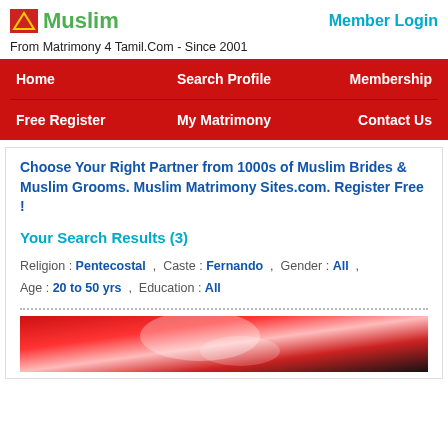Muslim   Member Login
From Matrimony 4 Tamil.Com - Since 2001
Home   Search Profile   Membership   Free Register   My Matrimony   Contact Us
Choose Your Right Partner from 1000s of Muslim Brides & Muslim Grooms. Muslim Matrimony Sites.com. Register Free !
Your Search Results (3)
Religion : Pentecostal , Caste : Fernando , Gender : All , Age : 20 to 50 yrs , Education : All
[Figure (photo): Red-toned photograph at the bottom of the page, partially visible]